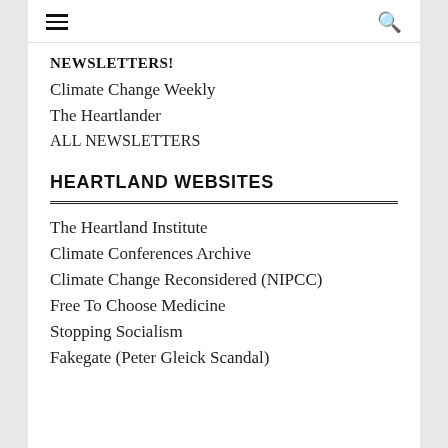≡  🔍
NEWSLETTERS!
Climate Change Weekly
The Heartlander
ALL NEWSLETTERS
HEARTLAND WEBSITES
The Heartland Institute
Climate Conferences Archive
Climate Change Reconsidered (NIPCC)
Free To Choose Medicine
Stopping Socialism
Fakegate (Peter Gleick Scandal)